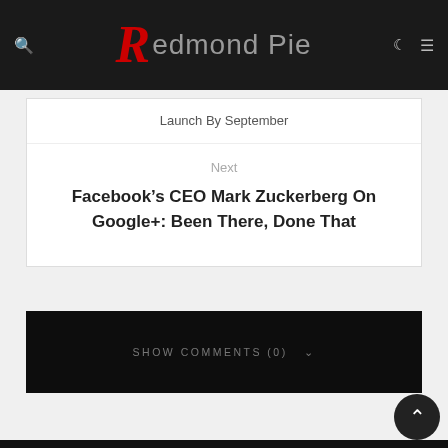Redmond Pie
Launch By September
Next
Facebook's CEO Mark Zuckerberg On Google+: Been There, Done That
SHOW COMMENTS (0)